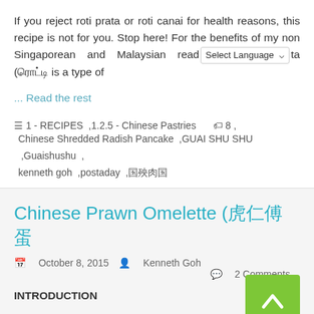If you reject roti prata or roti canai for health reasons, this recipe is not for you. Stop here! For the benefits of my non Singaporean and Malaysian readers, roti prata (ரொட்டி is a type of
... Read the rest
1 - RECIPES ,1.2.5 - Chinese Pastries  8 , Chinese Shredded Radish Pancake ,GUAI SHU SHU ,Guaishushu , kenneth goh ,postaday ,国殇肉国
Chinese Prawn Omelette (虾仁炒蛋
October 8, 2015  Kenneth Goh  2 Comments
INTRODUCTION
Some home cooked dishes looks easy but I can never get it right.. there are no pointers.. One of the dish is this Chinese prawn omelette..